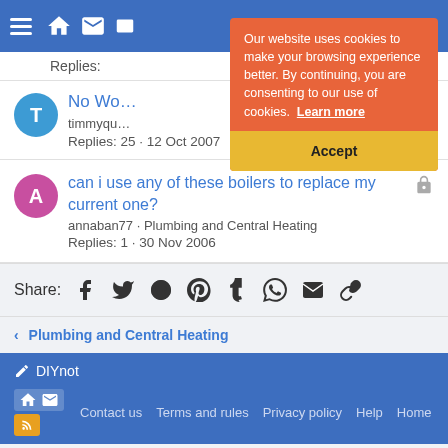DIYnot navigation bar
Replies:
No Wo... timmyqu... Replies: 25 · 12 Oct 2007
Our website uses cookies to make your browsing experience better. By continuing, you are consenting to our use of cookies. Learn more
Accept
can i use any of these boilers to replace my current one?
annaban77 · Plumbing and Central Heating
Replies: 1 · 30 Nov 2006
Share:
< Plumbing and Central Heating
DIYnot
Contact us   Terms and rules   Privacy policy   Help   Home